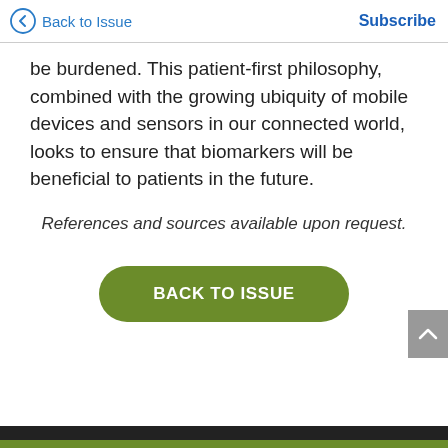Back to Issue | Subscribe
be burdened. This patient-first philosophy, combined with the growing ubiquity of mobile devices and sensors in our connected world, looks to ensure that biomarkers will be beneficial to patients in the future.
References and sources available upon request.
BACK TO ISSUE